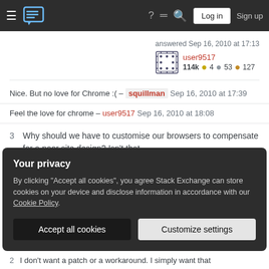Stack Exchange navigation bar with hamburger menu, logo, help, chat, search icons, Log in and Sign up buttons
answered Sep 16, 2010 at 17:13
user9517  114k ● 4 ● 53 ● 127
Nice. But no love for Chrome :( – squillman  Sep 16, 2010 at 17:39
Feel the love for chrome – user9517  Sep 16, 2010 at 18:08
Why should we have to customise our browsers to compensate for a poor site design? Isn't that
Your privacy
By clicking "Accept all cookies", you agree Stack Exchange can store cookies on your device and disclose information in accordance with our Cookie Policy.
I don't want a patch or a workaround. I simply want that